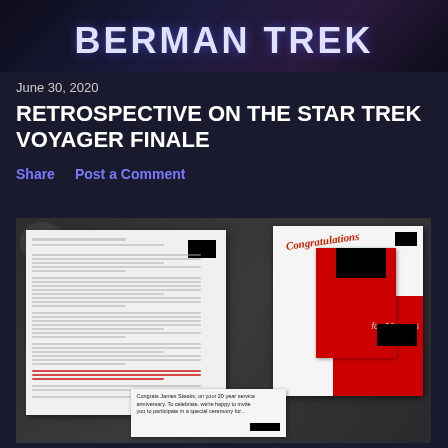[Figure (photo): Partial banner header for 'Berman Trek' blog with stylized text on dark background]
June 30, 2020
RETROSPECTIVE ON THE STAR TREK VOYAGER FINALE
Share   Post a Comment
[Figure (photo): Photo of documents on a dark table including a multi-paragraph letter with redacted sections, a congratulations card, a red folder, and a small card at the bottom reading 'Congrats James Steaks, on your 20 year service anniversary. To celebrate...' with a redacted section.]